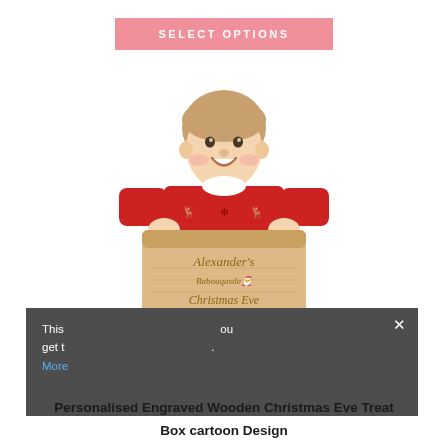SELECT OPTIONS
[Figure (photo): A young smiling boy in a red Christmas jumper holding a personalised engraved wooden Christmas Eve box with 'Alexander's Babouqastle Christmas Eve Box' engraved on the front.]
This ... ou get t... More...
Personalised Engraved Wooden Christmas Eve Treat Box cartoon Design